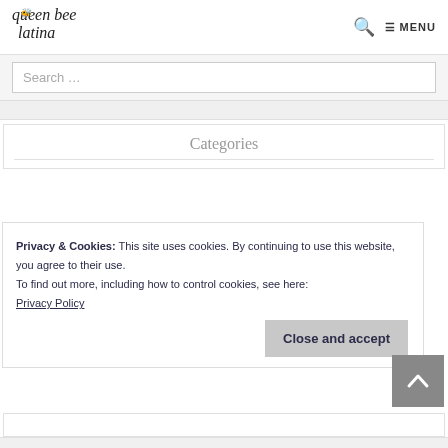queen bee latina — Search — MENU
Search …
Categories
Privacy & Cookies: This site uses cookies. By continuing to use this website, you agree to their use.
To find out more, including how to control cookies, see here: Privacy Policy
Close and accept